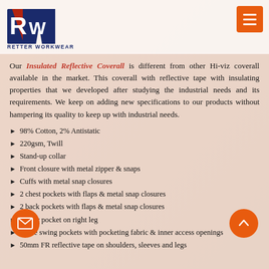RETTER WORKWEAR
Our Insulated Reflective Coverall is different from other Hi-viz coverall available in the market. This coverall with reflective tape with insulating properties that we developed after studying the industrial needs and its requirements. We keep on adding new specifications to our products without hampering its quality to keep up with industrial needs.
98% Cotton, 2% Antistatic
220gsm, Twill
Stand-up collar
Front closure with metal zipper & snaps
Cuffs with metal snap closures
2 chest pockets with flaps & metal snap closures
2 back pockets with flaps & metal snap closures
1 ruler pocket on right leg
2 side swing pockets with pocketing fabric & inner access openings
50mm FR reflective tape on shoulders, sleeves and legs